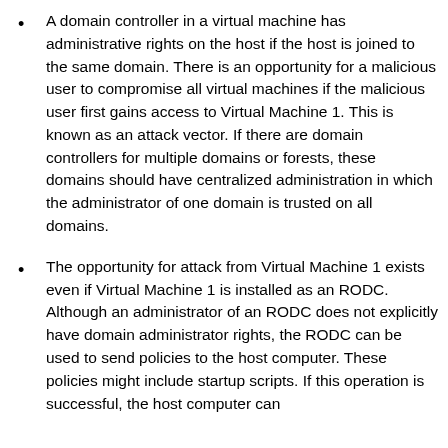A domain controller in a virtual machine has administrative rights on the host if the host is joined to the same domain. There is an opportunity for a malicious user to compromise all virtual machines if the malicious user first gains access to Virtual Machine 1. This is known as an attack vector. If there are domain controllers for multiple domains or forests, these domains should have centralized administration in which the administrator of one domain is trusted on all domains.
The opportunity for attack from Virtual Machine 1 exists even if Virtual Machine 1 is installed as an RODC. Although an administrator of an RODC does not explicitly have domain administrator rights, the RODC can be used to send policies to the host computer. These policies might include startup scripts. If this operation is successful, the host computer can